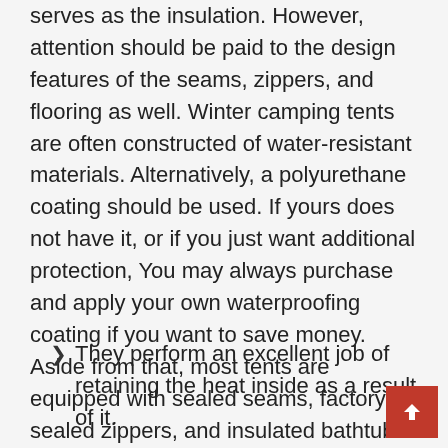serves as the insulation. However, attention should be paid to the design features of the seams, zippers, and flooring as well. Winter camping tents are often constructed of water-resistant materials. Alternatively, a polyurethane coating should be used. If yours does not have it, or if you just want additional protection, You may always purchase and apply your own waterproofing coating if you want to save money. Aside from that, most tents are equipped with sealed seams, factory-sealed zippers, and insulated bathtub floors.
They perform an excellent job of retaining the heat inside as a result of it.